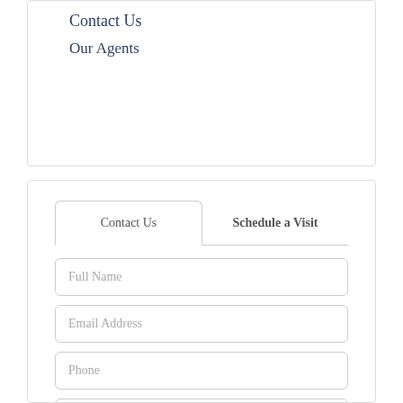Contact Us
Our Agents
Contact Us | Schedule a Visit
Full Name
Email Address
Phone
I would like to know more about 60 Glidden Road Moultonborough NH 03254